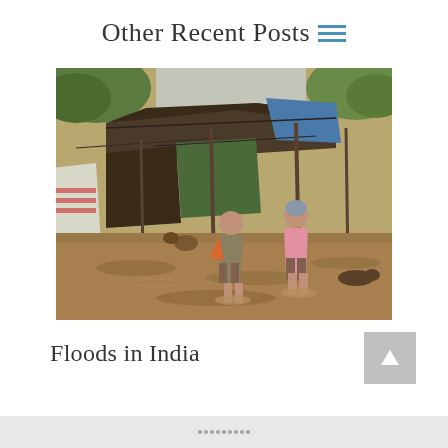Other Recent Posts
[Figure (photo): Two people standing in muddy floodwater outside a makeshift shelter with tarps and poles. The floodwater is brown and muddy, reaching mid-shin on the people. Various items are visible in the background including blue tarps and debris.]
Floods in India